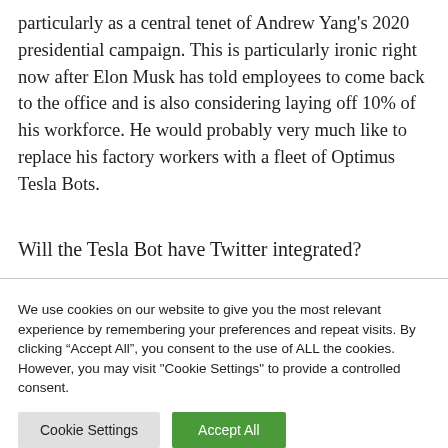particularly as a central tenet of Andrew Yang's 2020 presidential campaign. This is particularly ironic right now after Elon Musk has told employees to come back to the office and is also considering laying off 10% of his workforce. He would probably very much like to replace his factory workers with a fleet of Optimus Tesla Bots.
Will the Tesla Bot have Twitter integrated?
We use cookies on our website to give you the most relevant experience by remembering your preferences and repeat visits. By clicking “Accept All”, you consent to the use of ALL the cookies. However, you may visit "Cookie Settings" to provide a controlled consent.